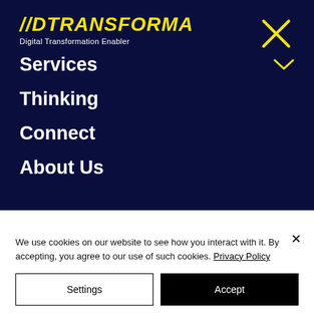//DTRANSFORMA
Digital Transformation Enabler
Services
Thinking
Connect
About Us
We use cookies on our website to see how you interact with it. By accepting, you agree to our use of such cookies. Privacy Policy
Settings
Accept